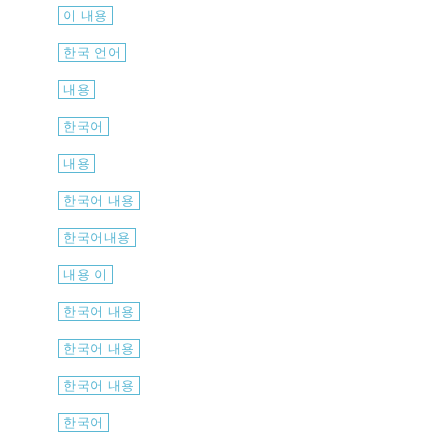이 내용
한국 언어
내용
한국어
내용
한국어 내용
한국어내용
내용 이
한국어 내용
한국어 내용
한국어 내용
한국어
한국어 내용
한국어
한국어내용
내용 한국어
한국어내용
한국어내용어 내용
한국어 내용어